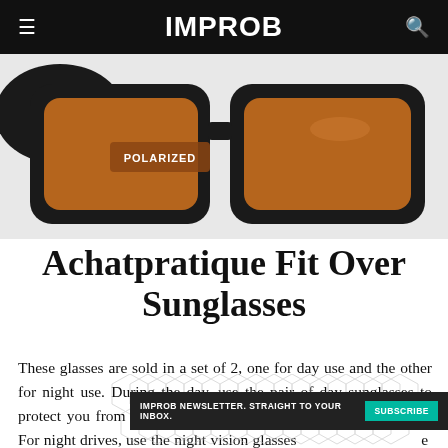IMPROB
[Figure (photo): Close-up of black sunglasses with amber/brown polarized lenses, showing 'POLARIZED' text on the lens sticker, on a light gray background.]
Achatpratique Fit Over Sunglasses
These glasses are sold in a set of 2, one for day use and the other for night use. During the day, use the pair of day sunglasses to protect you from UV rays and have better visibility on the road. For night drives, use the night vision glasses to reduce glare from
IMPROB NEWSLETTER. STRAIGHT TO YOUR INBOX.